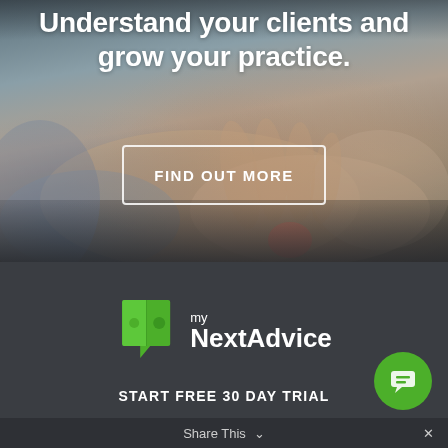[Figure (photo): Background photo of hands resting on a surface, blurred/bokeh effect, with dark overlay. Two overlaid text elements and a button on top.]
Understand your clients and grow your practice.
FIND OUT MORE
[Figure (logo): myNextAdvice logo: green speech-bubble puzzle-piece icon on the left, text 'my NextAdvice' on the right in white]
START FREE 30 DAY TRIAL
Share This